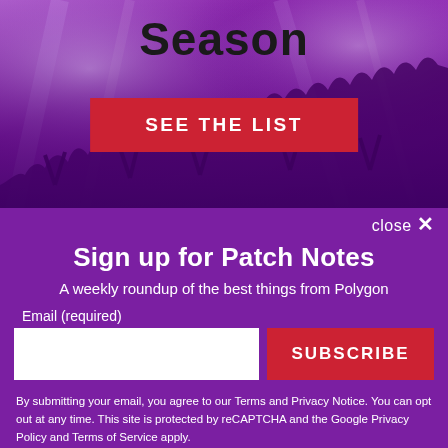[Figure (photo): Concert crowd photo with purple/violet lighting, people with hands raised, used as background banner image]
Season
SEE THE LIST
close ✕
Sign up for Patch Notes
A weekly roundup of the best things from Polygon
Email (required)
SUBSCRIBE
By submitting your email, you agree to our Terms and Privacy Notice. You can opt out at any time. This site is protected by reCAPTCHA and the Google Privacy Policy and Terms of Service apply.